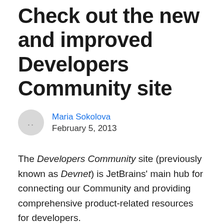Check out the new and improved Developers Community site
Maria Sokolova
February 5, 2013
The Developers Community site (previously known as Devnet) is JetBrains' main hub for connecting our Community and providing comprehensive product-related resources for developers.
Today we introduce the revamped